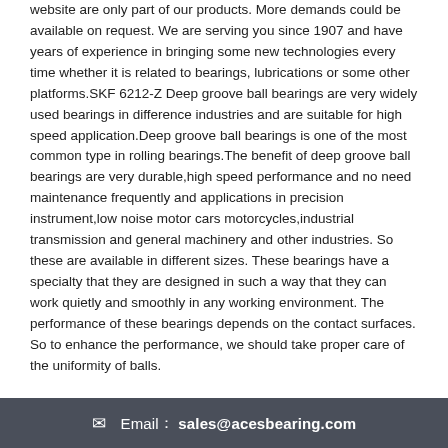website are only part of our products. More demands could be available on request. We are serving you since 1907 and have years of experience in bringing some new technologies every time whether it is related to bearings, lubrications or some other platforms.SKF 6212-Z Deep groove ball bearings are very widely used bearings in difference industries and are suitable for high speed application.Deep groove ball bearings is one of the most common type in rolling bearings.The benefit of deep groove ball bearings are very durable,high speed performance and no need maintenance frequently and applications in precision instrument,low noise motor cars motorcycles,industrial transmission and general machinery and other industries. So these are available in different sizes. These bearings have a specialty that they are designed in such a way that they can work quietly and smoothly in any working environment. The performance of these bearings depends on the contact surfaces. So to enhance the performance, we should take proper care of the uniformity of balls.
Features and benefits
✉ Email： sales@acesbearing.com